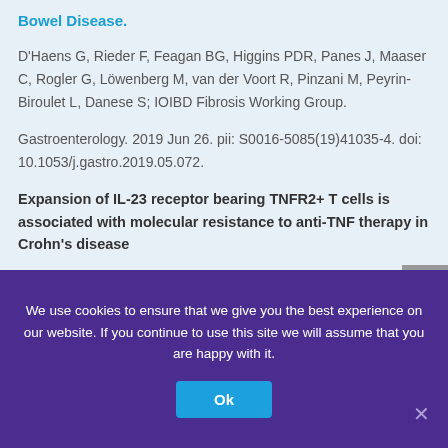Bowel Disease.
D'Haens G, Rieder F, Feagan BG, Higgins PDR, Panes J, Maaser C, Rogler G, Löwenberg M, van der Voort R, Pinzani M, Peyrin-Biroulet L, Danese S; IOIBD Fibrosis Working Group.
Gastroenterology. 2019 Jun 26. pii: S0016-5085(19)41035-4. doi: 10.1053/j.gastro.2019.05.072.
Expansion of IL-23 receptor bearing TNFR2+ T cells is associated with molecular resistance to anti-TNF therapy in Crohn's disease
Authors: Heike Schmitt,1 Ulrike Billmeier,1 Walburga
We use cookies to ensure that we give you the best experience on our website. If you continue to use this site we will assume that you are happy with it.